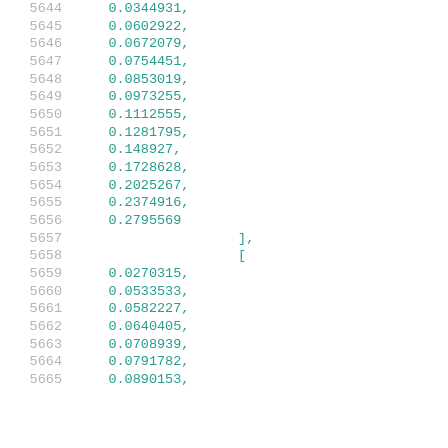5644    0.0344931,
5645    0.0602922,
5646    0.0672079,
5647    0.0754451,
5648    0.0853019,
5649    0.0973255,
5650    0.1112555,
5651    0.1281795,
5652    0.148927,
5653    0.1728628,
5654    0.2025267,
5655    0.2374916,
5656    0.2795569
5657    ],
5658    [
5659    0.0270315,
5660    0.0533533,
5661    0.0582227,
5662    0.0640405,
5663    0.0708939,
5664    0.0791782,
5665    0.0890153,